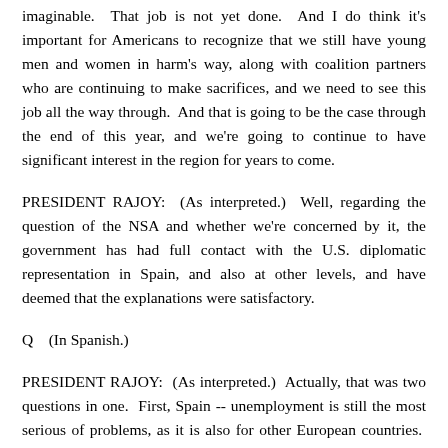imaginable. That job is not yet done. And I do think it's important for Americans to recognize that we still have young men and women in harm's way, along with coalition partners who are continuing to make sacrifices, and we need to see this job all the way through. And that is going to be the case through the end of this year, and we're going to continue to have significant interest in the region for years to come.
PRESIDENT RAJOY: (As interpreted.) Well, regarding the question of the NSA and whether we're concerned by it, the government has had full contact with the U.S. diplomatic representation in Spain, and also at other levels, and have deemed that the explanations were satisfactory.
Q    (In Spanish.)
PRESIDENT RAJOY: (As interpreted.) Actually, that was two questions in one. First, Spain -- unemployment is still the most serious of problems, as it is also for other European countries. And the goal of my policy over the last two years